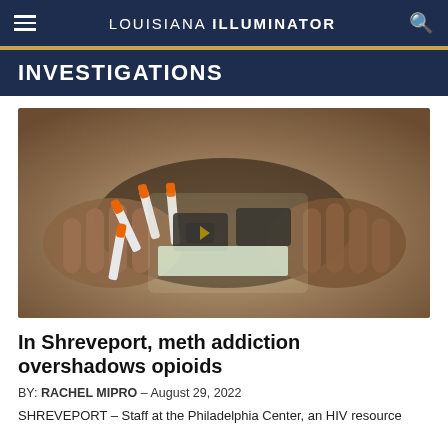LOUISIANA ILLUMINATOR
INVESTIGATIONS
[Figure (photo): Hands holding multiple syringes with orange caps along with small packets, a supply kit photo related to an HIV resource program.]
In Shreveport, meth addiction overshadows opioids
BY: RACHEL MIPRO – August 29, 2022
SHREVEPORT – Staff at the Philadelphia Center, an HIV resource